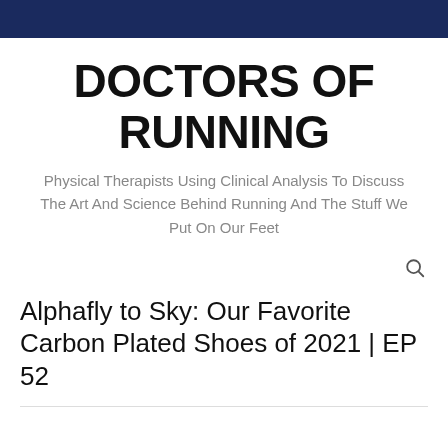DOCTORS OF RUNNING
Physical Therapists Using Clinical Analysis To Discuss The Art And Science Behind Running And The Stuff We Put On Our Feet
Alphafly to Sky: Our Favorite Carbon Plated Shoes of 2021 | EP 52